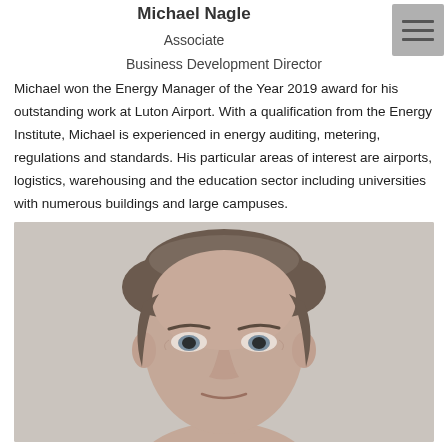Michael Nagle
Associate
Business Development Director
Michael won the Energy Manager of the Year 2019 award for his outstanding work at Luton Airport. With a qualification from the Energy Institute, Michael is experienced in energy auditing, metering, regulations and standards. His particular areas of interest are airports, logistics, warehousing and the education sector including universities with numerous buildings and large campuses.
[Figure (photo): Headshot photo of Michael Nagle, a middle-aged man with short brown/grey hair, looking slightly downward toward the camera against a light grey background.]